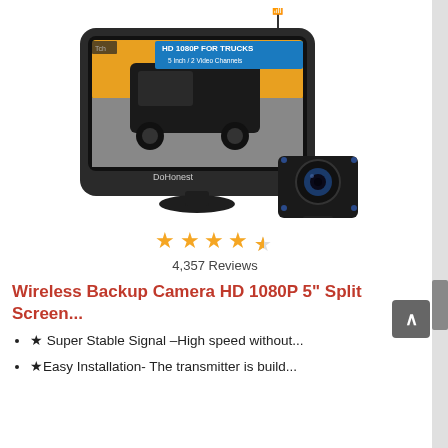[Figure (photo): Product photo of a DoHonest wireless backup camera system showing a 5-inch monitor displaying a truck on a road with text 'HD 1080P FOR TRUCKS 5 Inch / 2 Video Channels', and a separate backup camera unit below and to the right. A WiFi antenna is visible at the top of the monitor.]
[Figure (other): Star rating display showing 4.5 out of 5 stars in orange/gold color]
4,357 Reviews
Wireless Backup Camera HD 1080P 5" Split Screen...
★ Super Stable Signal –High speed without...
★Easy Installation- The transmitter is build...